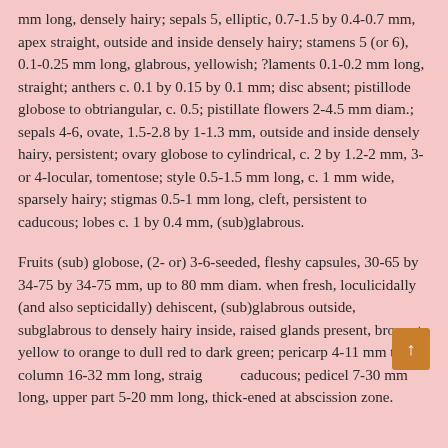mm long, densely hairy; sepals 5, elliptic, 0.7-1.5 by 0.4-0.7 mm, apex straight, outside and inside densely hairy; stamens 5 (or 6), 0.1-0.25 mm long, glabrous, yellowish; ?laments 0.1-0.2 mm long, straight; anthers c. 0.1 by 0.15 by 0.1 mm; disc absent; pistillode globose to obtriangular, c. 0.5; pistillate flowers 2-4.5 mm diam.; sepals 4-6, ovate, 1.5-2.8 by 1-1.3 mm, outside and inside densely hairy, persistent; ovary globose to cylindrical, c. 2 by 1.2-2 mm, 3- or 4-locular, tomentose; style 0.5-1.5 mm long, c. 1 mm wide, sparsely hairy; stigmas 0.5-1 mm long, cleft, persistent to caducous; lobes c. 1 by 0.4 mm, (sub)glabrous.
Fruits (sub) globose, (2- or) 3-6-seeded, fleshy capsules, 30-65 by 34-75 by 34-75 mm, up to 80 mm diam. when fresh, loculicidally (and also septicidally) dehiscent, (sub)glabrous outside, subglabrous to densely hairy inside, raised glands present, brown to yellow to orange to dull red to dark green; pericarp 4-11 mm thick; column 16-32 mm long, straight, caducous; pedicel 7-30 mm long, upper part 5-20 mm long, thick-ened at abscission zone.